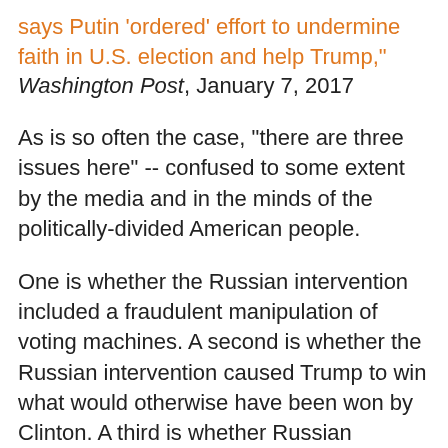says Putin 'ordered' effort to undermine faith in U.S. election and help Trump," Washington Post, January 7, 2017
As is so often the case, "there are three issues here" -- confused to some extent by the media and in the minds of the politically-divided American people.
One is whether the Russian intervention included a fraudulent manipulation of voting machines. A second is whether the Russian intervention caused Trump to win what would otherwise have been won by Clinton. A third is whether Russian activities included, amongst others, hacking into Democratic Party and Clinton campaign computers with the intention of helping Trump and hurting Clinton's chances. The consensus on